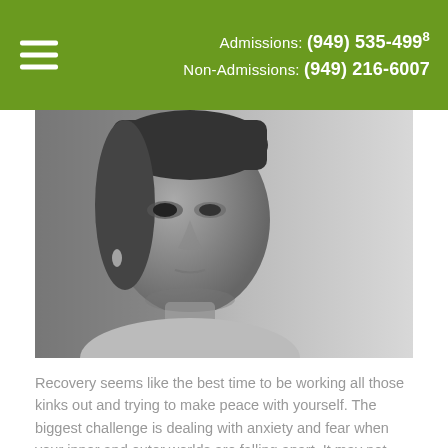Admissions: (949) 535-4998
Non-Admissions: (949) 216-6007
[Figure (photo): Black and white close-up photo of a woman looking downward with a somber expression, wearing a light top, against a light background]
Recovery seems like the best time to be working all those kinks out and trying to make peace with yourself. The biggest challenge is dealing with anxiety and fear when your inner and outer worlds are falling apart. It may not happen at the same time. Perhaps you find some inner